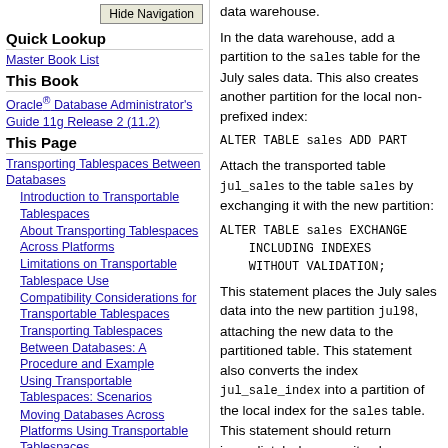Hide Navigation (button)
Quick Lookup
Master Book List
This Book
Oracle® Database Administrator's Guide 11g Release 2 (11.2)
This Page
Transporting Tablespaces Between Databases
Introduction to Transportable Tablespaces
About Transporting Tablespaces Across Platforms
Limitations on Transportable Tablespace Use
Compatibility Considerations for Transportable Tablespaces
Transporting Tablespaces Between Databases: A Procedure and Example
Using Transportable Tablespaces: Scenarios
Moving Databases Across Platforms Using Transportable Tablespaces
data warehouse.
In the data warehouse, add a partition to the sales table for the July sales data. This also creates another partition for the local non-prefixed index:
ALTER TABLE sales ADD PART
Attach the transported table jul_sales to the table sales by exchanging it with the new partition:
ALTER TABLE sales EXCHANGE
    INCLUDING INDEXES
    WITHOUT VALIDATION;
This statement places the July sales data into the new partition jul98, attaching the new data to the partitioned table. This statement also converts the index jul_sale_index into a partition of the local index for the sales table. This statement should return immediately, because it only operates on the structural